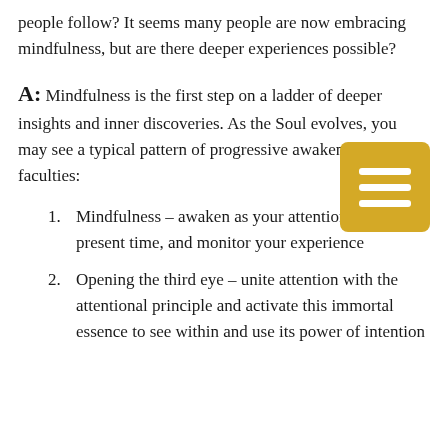people follow? It seems many people are now embracing mindfulness, but are there deeper experiences possible?
A: Mindfulness is the first step on a ladder of deeper insights and inner discoveries. As the Soul evolves, you may see a typical pattern of progressive awakening of inner faculties:
1. Mindfulness – awaken as your attention in the present time, and monitor your experience
2. Opening the third eye – unite attention with the attentional principle and activate this immortal essence to see within and use its power of intention